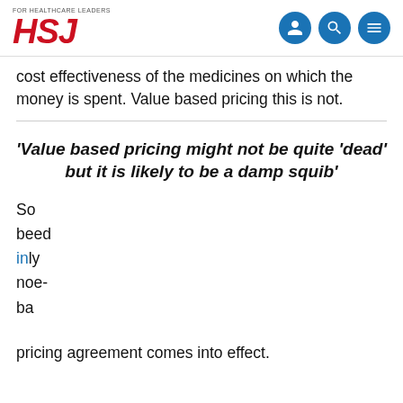[Figure (logo): HSJ (Health Service Journal) logo with tagline 'FOR HEALTHCARE LEADERS' and three navigation icons (user, search, menu)]
cost effectiveness of the medicines on which the money is spent. Value based pricing this is not.
'Value based pricing might not be quite 'dead' but it is likely to be a damp squib'
By continuing to browse the site you are agreeing to our use of cookies. You can change your settings at any time. Learn more OK
pricing agreement comes into effect.